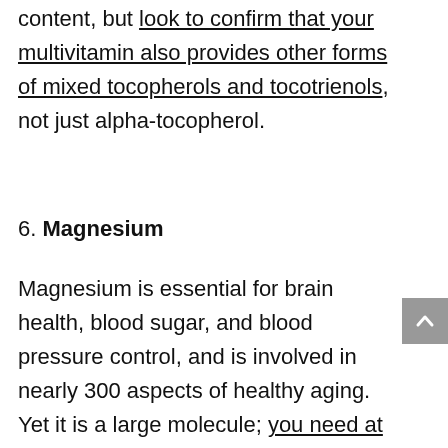content, but look to confirm that your multivitamin also provides other forms of mixed tocopherols and tocotrienols, not just alpha-tocopherol.
6. Magnesium
Magnesium is essential for brain health, blood sugar, and blood pressure control, and is involved in nearly 300 aspects of healthy aging. Yet it is a large molecule; you need at least 400 mg of magnesium daily, and a large magnesium pill with only magnesium likely contains 150-200 mg of magnesium. Ensuring you get enough